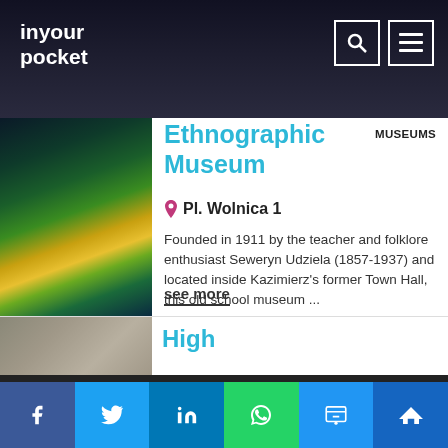in your pocket
Ethnographic Museum
MUSEUMS
Pl. Wolnica 1
Founded in 1911 by the teacher and folklore enthusiast Seweryn Udziela (1857-1937) and located inside Kazimierz's former Town Hall, this old school museum ...
see more
[Figure (photo): Interior of the Ethnographic Museum showing colorful illuminated tree display]
High
JEWISH SIGHTSEEING
[Figure (photo): Partial exterior photo of a building for the second listing]
Social sharing bar: Facebook, Twitter, LinkedIn, WhatsApp, SMS, Crown